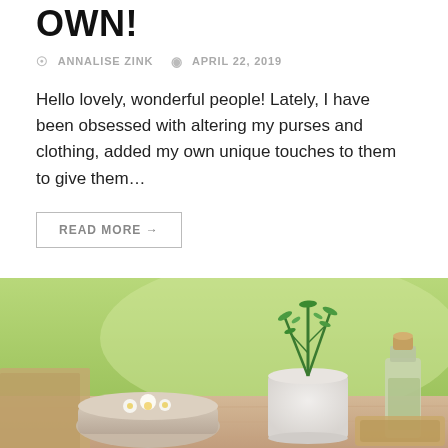OWN!
ANNALISE ZINK   APRIL 22, 2019
Hello lovely, wonderful people! Lately, I have been obsessed with altering my purses and clothing, added my own unique touches to them to give them…
READ MORE →
[Figure (photo): A flat lay photo of natural herbal skincare items: a bowl with white flowers floating, a small white pot with a rosemary plant, a glass bottle with a cork stopper, and other natural objects on a wooden surface with green background.]
DIY Tips for Flawless Skin
HANNA HOLMAN   OCTOBER 4, 2018
It doesn't matter how smart we are as customers because